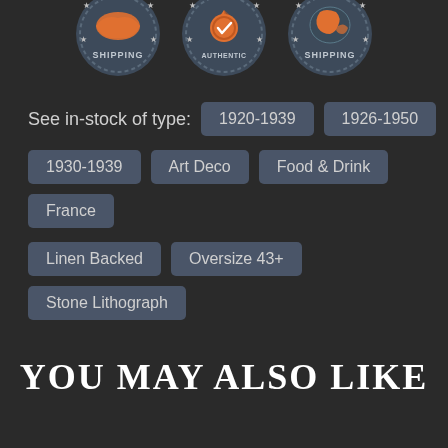[Figure (infographic): Three circular badge icons: US Shipping (orange USA map), Guaranteed Authentic (orange medal/ribbon), and International Shipping (orange world map). Dark grey background with star decorations.]
See in-stock of type:
1920-1939
1926-1950
1930-1939
Art Deco
Food & Drink
France
Linen Backed
Oversize 43+
Stone Lithograph
YOU MAY ALSO LIKE